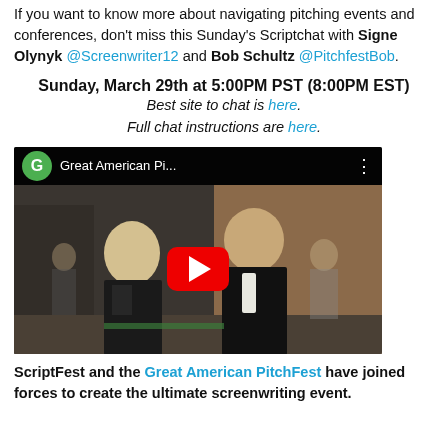If you want to know more about navigating pitching events and conferences, don't miss this Sunday's Scriptchat with Signe Olynyk @Screenwriter12 and Bob Schultz @PitchfestBob.
Sunday, March 29th at 5:00PM PST (8:00PM EST)
Best site to chat is here.
Full chat instructions are here.
[Figure (screenshot): YouTube video thumbnail for 'Great American Pi...' showing two people at what appears to be a conference or event, with a red YouTube play button in the center. A green 'G' circle icon and video title appear in the top bar.]
ScriptFest and the Great American PitchFest have joined forces to create the ultimate screenwriting event.